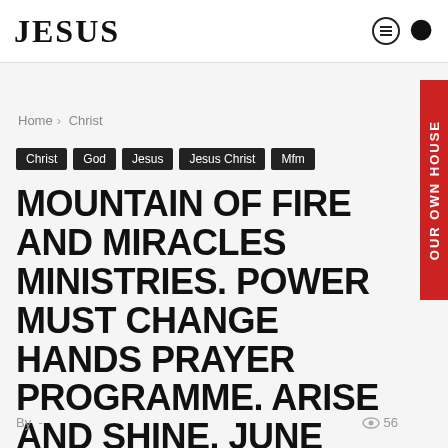JESUS
Christ
God
Jesus
Jesus Christ
Mfm
Home › Christ
MOUNTAIN OF FIRE AND MIRACLES MINISTRIES. POWER MUST CHANGE HANDS PRAYER PROGRAMME. ARISE AND SHINE. JUNE 2016.
By  -
56